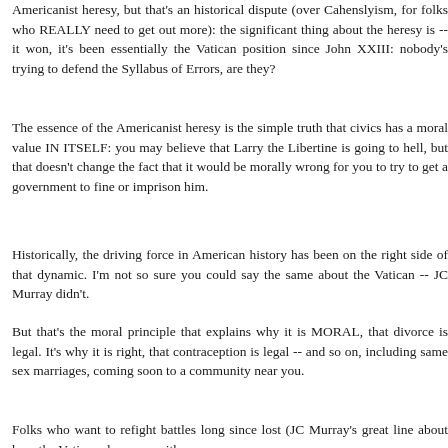Americanist heresy, but that's an historical dispute (over Cahenslyism, for folks who REALLY need to get out more): the significant thing about the heresy is -- it won, it's been essentially the Vatican position since John XXIII: nobody's trying to defend the Syllabus of Errors, are they?
The essence of the Americanist heresy is the simple truth that civics has a moral value IN ITSELF: you may believe that Larry the Libertine is going to hell, but that doesn't change the fact that it would be morally wrong for you to try to get a government to fine or imprison him.
Historically, the driving force in American history has been on the right side of that dynamic. I'm not so sure you could say the same about the Vatican -- JC Murray didn't.
But that's the moral principle that explains why it is MORAL, that divorce is legal. It's why it is right, that contraception is legal -- and so on, including same sex marriages, coming soon to a community near you.
Folks who want to refight battles long since lost (JC Murray's great line about how the Vatican shows up with